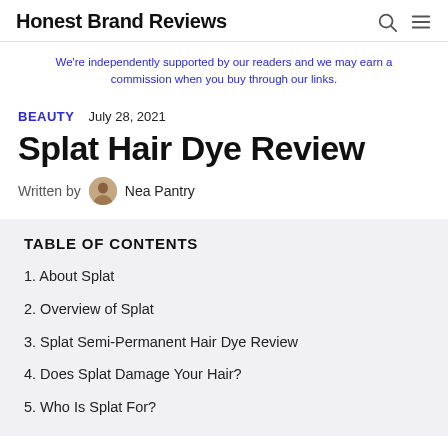Honest Brand Reviews
We're independently supported by our readers and we may earn a commission when you buy through our links.
BEAUTY   July 28, 2021
Splat Hair Dye Review
Written by  Nea Pantry
TABLE OF CONTENTS
1. About Splat
2. Overview of Splat
3. Splat Semi-Permanent Hair Dye Review
4. Does Splat Damage Your Hair?
5. Who Is Splat For?